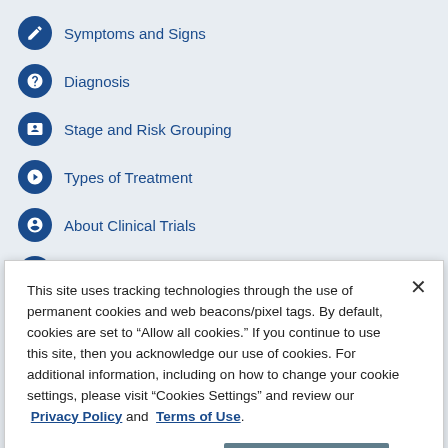Symptoms and Signs
Diagnosis
Stage and Risk Grouping
Types of Treatment
About Clinical Trials
Latest Research
Coping with Treatment
This site uses tracking technologies through the use of permanent cookies and web beacons/pixel tags. By default, cookies are set to “Allow all cookies.” If you continue to use this site, then you acknowledge our use of cookies. For additional information, including on how to change your cookie settings, please visit “Cookies Settings” and review our Privacy Policy and Terms of Use.
Cookies Settings
Accept Cookies